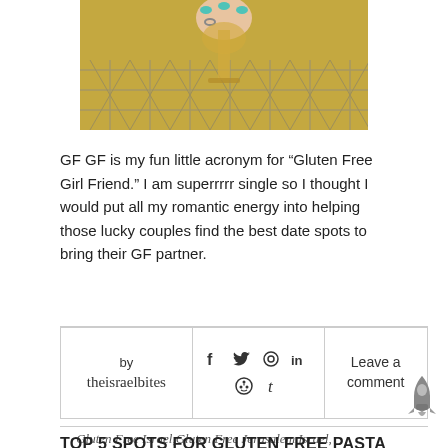[Figure (photo): A hand holding a glass of wine or champagne with a decorative lattice fence background]
GF GF is my fun little acronym for “Gluten Free Girl Friend.” I am superrrrr single so I thought I would put all my romantic energy into helping those lucky couples find the best date spots to bring their GF partner.
by theisraelbites
Leave a comment
Gluten Free Israel,Gluten Free Jerusalem,Israel, Jerusalem
TOP 5 SPOTS FOR GLUTEN FREE PASTA